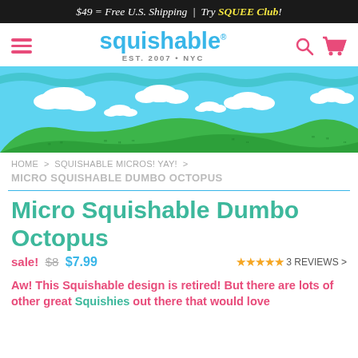$49 = Free U.S. Shipping | Try SQUEE Club!
[Figure (screenshot): Squishable logo navigation bar with hamburger menu, search icon, and shopping cart]
[Figure (illustration): Decorative banner with blue sky, white clouds, and green rolling hills with small grass tufts]
HOME > SQUISHABLE MICROS! YAY! >
MICRO SQUISHABLE DUMBO OCTOPUS
Micro Squishable Dumbo Octopus
sale! $8 $7.99   ★★★★★ 3 REVIEWS >
Aw! This Squishable design is retired! But there are lots of other great Squishies out there that would love